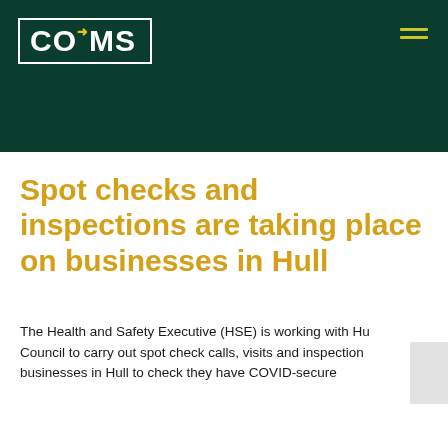CQMS
Spot checks and inspections are taking place on businesses in Hull
The Health and Safety Executive (HSE) is working with Hull Council to carry out spot check calls, visits and inspections on businesses in Hull to check they have COVID-secure